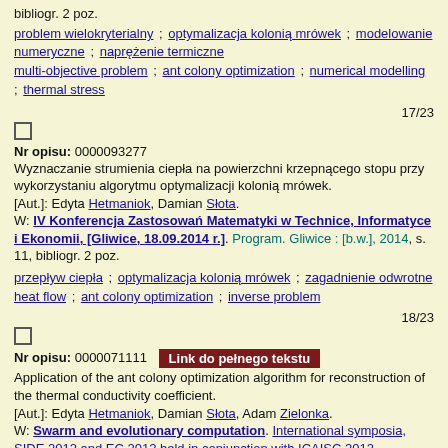bibliogr. 2 poz.
problem wielokryterialny ; optymalizacja kolonią mrówek ; modelowanie numeryczne ; naprężenie termiczne
multi-objective problem ; ant colony optimization ; numerical modelling ; thermal stress
17/23
Nr opisu: 0000093277
Wyznaczanie strumienia ciepła na powierzchni krzepnącego stopu przy wykorzystaniu algorytmu optymalizacji kolonią mrówek.
[Aut.]: Edyta Hetmaniok, Damian Słota.
W: IV Konferencja Zastosowań Matematyki w Technice, Informatyce i Ekonomii, [Gliwice, 18.09.2014 r.]. Program. Gliwice : [b.w.], 2014, s. 11, bibliogr. 2 poz.
przepływ ciepła ; optymalizacja kolonią mrówek ; zagadnienie odwrotne
heat flow ; ant colony optimization ; inverse problem
18/23
Nr opisu: 0000071111
Application of the ant colony optimization algorithm for reconstruction of the thermal conductivity coefficient.
[Aut.]: Edyta Hetmaniok, Damian Słota, Adam Zielonka.
W: Swarm and evolutionary computation. International symposia, SIDE 2012 and EC 2012 held in conjunction with ICAISC 2012, Zakopane, Poland, April 29-May 3, 2012. Proceedings. Eds: L. Rutkowski [et al.]. Berlin : Springer, 2012, s. 240-248, bibliogr. 22 poz. / Lecture Notes in